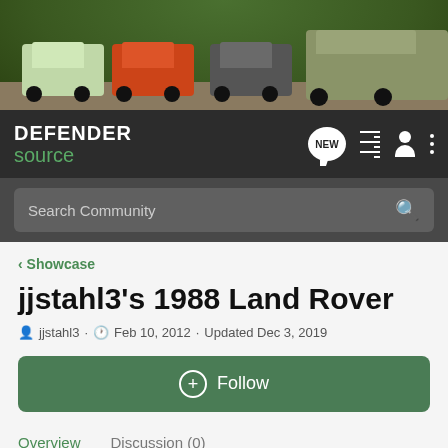[Figure (photo): Banner photo of multiple Land Rover Defender vehicles parked outdoors in various colors including green, orange, grey/black, and olive green against a wooded background]
[Figure (logo): Defender Source website logo in white and green text on dark background, with navigation icons including NEW chat badge, list view, user profile, and more options dots]
Search Community
< Showcase
jjstahl3's 1988 Land Rover
jjstahl3 · Feb 10, 2012 · Updated Dec 3, 2019
+ Follow
Overview
Discussion (0)